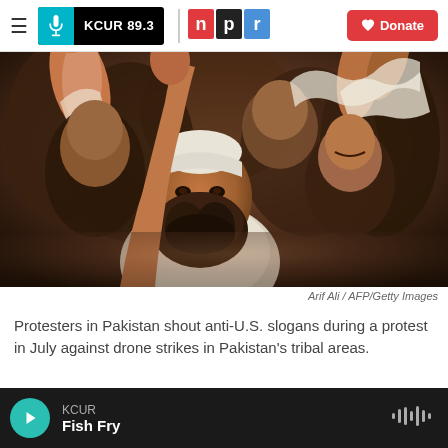KCUR 89.3 | npr | Donate
[Figure (photo): Protesters in Pakistan with raised fists and arms, shouting during a protest. A man with a beard and white cap is prominent in the foreground.]
Arif Ali / AFP/Getty Images
Protesters in Pakistan shout anti-U.S. slogans during a protest in July against drone strikes in Pakistan's tribal areas.
KCUR Fish Fry